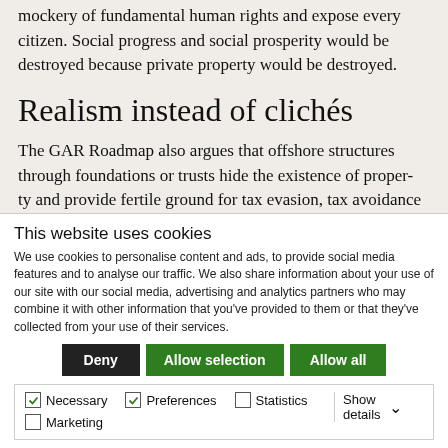mockery of fundamental human rights and expose every citizen. Social progress and social prosperity would be destroyed because private property would be destroyed.
Realism instead of clichés
The GAR Roadmap also argues that offshore structures through foundations or trusts hide the existence of proper- ty and provide fertile ground for tax evasion, tax avoidance or
This website uses cookies
We use cookies to personalise content and ads, to provide social media features and to analyse our traffic. We also share information about your use of our site with our social media, advertising and analytics partners who may combine it with other information that you've provided to them or that they've collected from your use of their services.
Deny | Allow selection | Allow all
Necessary | Preferences | Statistics | Marketing | Show details